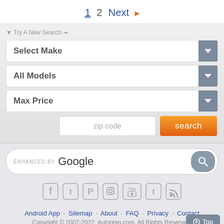1  2  Next ▶
▾ Try A New Search ➩
Select Make
All Models
Max Price
zip code  search
ENHANCED BY Google
[Figure (infographic): Social media icons: Facebook, Twitter, Pinterest, Instagram, YouTube, Tumblr, RSS]
Android App · Sitemap · About · FAQ · Privacy · Contact
Copyright © 2007-2022. Autopten.com. All Rights Reserved.
⊕ Top